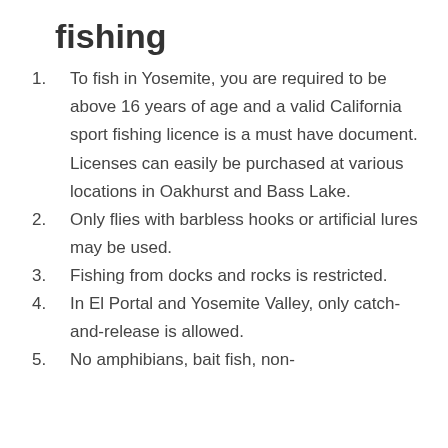fishing
To fish in Yosemite, you are required to be above 16 years of age and a valid California sport fishing licence is a must have document. Licenses can easily be purchased at various locations in Oakhurst and Bass Lake.
Only flies with barbless hooks or artificial lures may be used.
Fishing from docks and rocks is restricted.
In El Portal and Yosemite Valley, only catch-and-release is allowed.
No amphibians, bait fish, non-